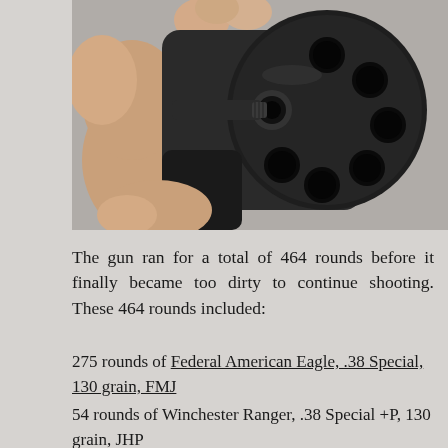[Figure (photo): A hand holding a revolver, shown from the front, revealing the cylinder with multiple chambers and the muzzle of the barrel pointing toward the viewer. The background is a light gray concrete surface.]
The gun ran for a total of 464 rounds before it finally became too dirty to continue shooting. These 464 rounds included:
275 rounds of Federal American Eagle, .38 Special, 130 grain, FMJ
54 rounds of Winchester Ranger, .38 Special +P, 130 grain, JHP